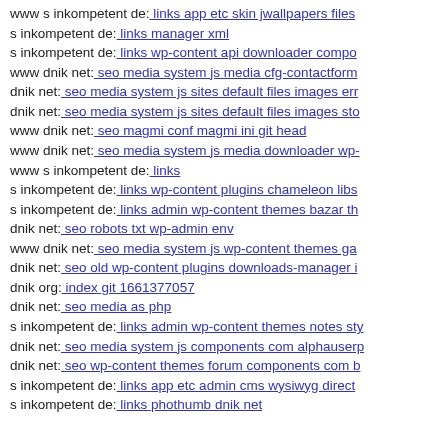www s inkompetent de: links app etc skin jwallpapers files
s inkompetent de: links manager xml
s inkompetent de: links wp-content api downloader compo
www dnik net: seo media system js media cfg-contactform
dnik net: seo media system js sites default files images err
dnik net: seo media system js sites default files images sto
www dnik net: seo magmi conf magmi ini git head
www dnik net: seo media system js media downloader wp-
www s inkompetent de: links
s inkompetent de: links wp-content plugins chameleon libs
s inkompetent de: links admin wp-content themes bazar th
dnik net: seo robots txt wp-admin env
www dnik net: seo media system js wp-content themes ga
dnik net: seo old wp-content plugins downloads-manager i
dnik org: index git 1661377057
dnik net: seo media as php
s inkompetent de: links admin wp-content themes notes sty
dnik net: seo media system js components com alphauserp
dnik net: seo wp-content themes forum components com b
s inkompetent de: links app etc admin cms wysiwyg direct
s inkompetent de: links phothumb dnik net